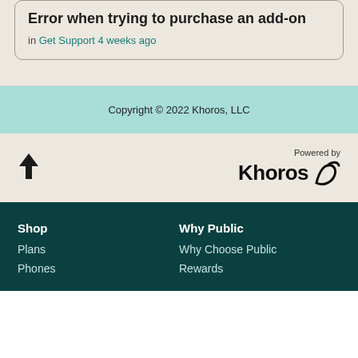Error when trying to purchase an add-on
in Get Support 4 weeks ago
Copyright © 2022 Khoros, LLC
[Figure (logo): Up arrow icon]
[Figure (logo): Powered by Khoros logo with stylized arrow icon]
Shop
Plans
Phones
Why Public
Why Choose Public
Rewards